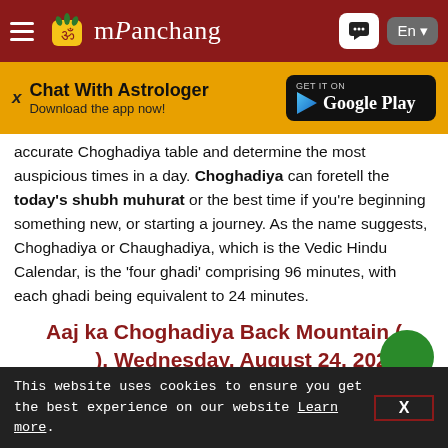mPanchang
[Figure (screenshot): mPanchang website header with hamburger menu, pineapple logo, brand name, chat button, and language selector (En)]
[Figure (infographic): Ad banner: Chat With Astrologer - Download the app now! with Google Play button]
accurate Choghadiya table and determine the most auspicious times in a day. Choghadiya can foretell the today's shubh muhurat or the best time if you're beginning something new, or starting a journey. As the name suggests, Choghadiya or Chaughadiya, which is the Vedic Hindu Calendar, is the 'four ghadi' comprising 96 minutes, with each ghadi being equivalent to 24 minutes.
Aaj ka Choghadiya Back Mountain ( ), Wednesday, August 24, 2022
This website uses cookies to ensure you get the best experience on our website Learn more. X